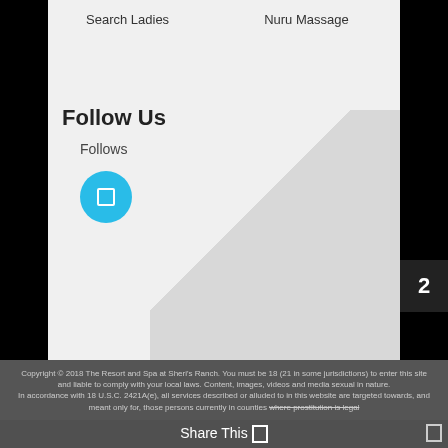Search Ladies
Nuru Massage
Follow Us
Follows
[Figure (illustration): Cyan circle icon with a small square outline inside, representing a social media follow button]
2
Copyright © 2018 The Resort and Spa at Sheri's Ranch. You must be 18 (21 in some jurisdictions) to enter this site and liable to comply with your local laws. Content, images, videos and media sexual in nature. In accordance with 18 U.S.C. 2421A(e), all services described or alluded to in this website are targeted towards, and meant only for, those persons currently in counties where prostitution is legal
Share This